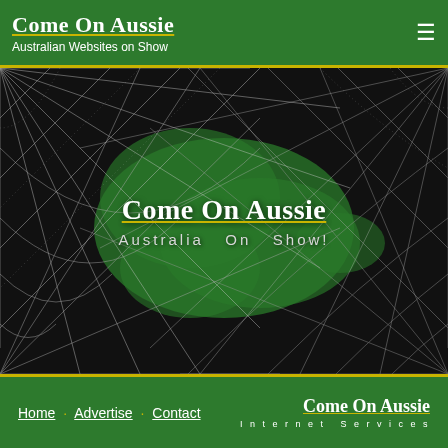Come On Aussie — Australian Websites on Show
[Figure (photo): Dark background with silver spider web patterns overlaid on a green silhouette map of Australia in the center. Text overlay reads 'Come On Aussie' and 'Australia On Show!']
Home · Advertise · Contact — Come On Aussie Internet Services